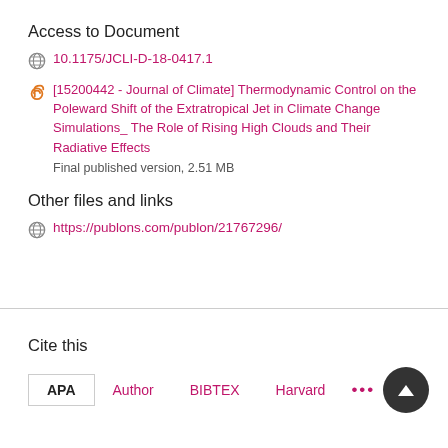Access to Document
10.1175/JCLI-D-18-0417.1
[15200442 - Journal of Climate] Thermodynamic Control on the Poleward Shift of the Extratropical Jet in Climate Change Simulations_ The Role of Rising High Clouds and Their Radiative Effects
Final published version, 2.51 MB
Other files and links
https://publons.com/publon/21767296/
Cite this
APA  Author  BIBTEX  Harvard  ...